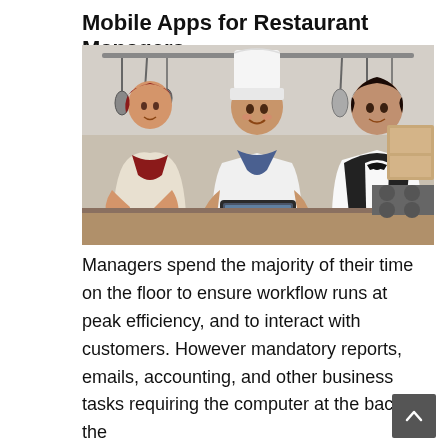Mobile Apps for Restaurant Managers
[Figure (photo): Three restaurant kitchen staff — a female cook in a red bandana, a head chef in white uniform and tall toque holding a tablet, and a young man in a black vest and bow tie — reviewing something on a tablet in a commercial kitchen.]
Managers spend the majority of their time on the floor to ensure workflow runs at peak efficiency, and to interact with customers. However mandatory reports, emails, accounting, and other business tasks requiring the computer at the back of the